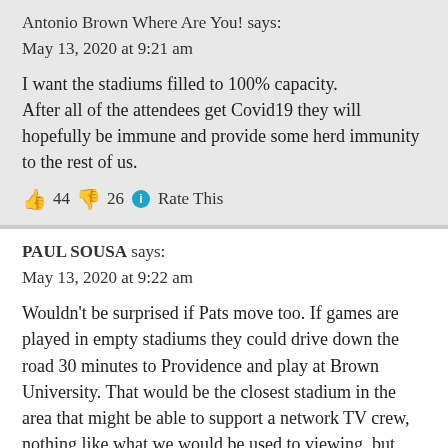Antonio Brown Where Are You! says:
May 13, 2020 at 9:21 am
I want the stadiums filled to 100% capacity.
After all of the attendees get Covid19 they will hopefully be immune and provide some herd immunity to the rest of us.
👍 44 👎 26 ℹ Rate This
PAUL SOUSA says:
May 13, 2020 at 9:22 am
Wouldn't be surprised if Pats move too. If games are played in empty stadiums they could drive down the road 30 minutes to Providence and play at Brown University. That would be the closest stadium in the area that might be able to support a network TV crew, nothing like what we would be used to viewing, but could possibly pull it off
👍 10 👎 14 ℹ Rate This